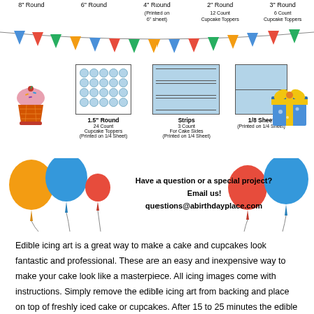[Figure (infographic): Product size chart showing various edible icing art sizes: 8" Round, 6" Round, 4" Round (Printed on 6" sheet), 2" Round 12 Count Cupcake Toppers, 3" Round 6 Count Cupcake Toppers, 1.5" Round 24 Count Cupcake Toppers (Printed on 1/4 Sheet), Strips 3 Count For Cake Sides (Printed on 1/4 Sheet), 1/8 Sheet (Printed on 1/4 Sheet), with decorative bunting, balloons, cupcake and gift illustrations.]
Have a question or a special project? Email us! questions@abirthdayplace.com
Edible icing art is a great way to make a cake and cupcakes look fantastic and professional. These are an easy and inexpensive way to make your cake look like a masterpiece. All icing images come with instructions. Simply remove the edible icing art from backing and place on top of freshly iced cake or cupcakes. After 15 to 25 minutes the edible icing art will blend with the frosting to give your cake a professional